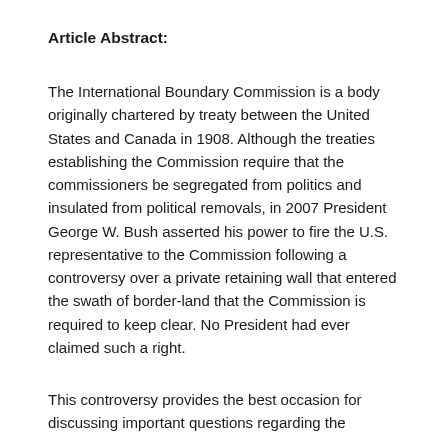Article Abstract:
The International Boundary Commission is a body originally chartered by treaty between the United States and Canada in 1908. Although the treaties establishing the Commission require that the commissioners be segregated from politics and insulated from political removals, in 2007 President George W. Bush asserted his power to fire the U.S. representative to the Commission following a controversy over a private retaining wall that entered the swath of border-land that the Commission is required to keep clear. No President had ever claimed such a right.
This controversy provides the best occasion for discussing important questions regarding the